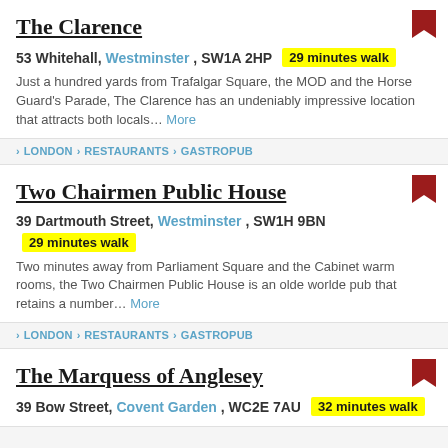The Clarence
53 Whitehall, Westminster, SW1A 2HP  29 minutes walk
Just a hundred yards from Trafalgar Square, the MOD and the Horse Guard's Parade, The Clarence has an undeniably impressive location that attracts both locals... More
> LONDON > RESTAURANTS > GASTROPUB
Two Chairmen Public House
39 Dartmouth Street, Westminster, SW1H 9BN  29 minutes walk
Two minutes away from Parliament Square and the Cabinet warm rooms, the Two Chairmen Public House is an olde worlde pub that retains a number... More
> LONDON > RESTAURANTS > GASTROPUB
The Marquess of Anglesey
39 Bow Street, Covent Garden, WC2E 7AU  32 minutes walk